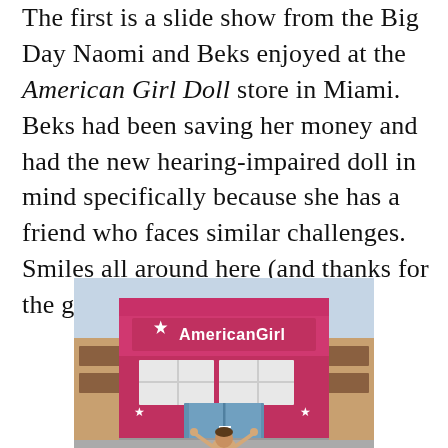The first is a slide show from the Big Day Naomi and Beks enjoyed at the American Girl Doll store in Miami. Beks had been saving her money and had the new hearing-impaired doll in mind specifically because she has a friend who faces similar challenges. Smiles all around here (and thanks for the great photos, Naomi).
[Figure (photo): Exterior photo of the American Girl store with a bright red/pink facade. White star logo and 'American Girl' text on signage above the entrance. A person with arms raised stands in the foreground.]